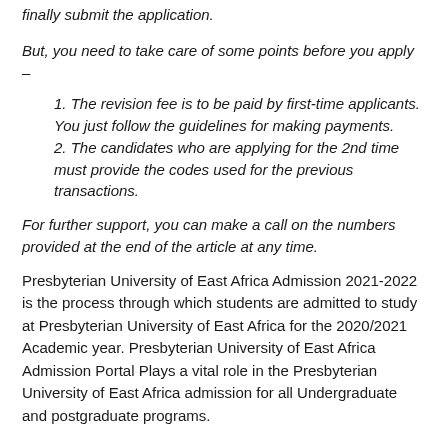finally submit the application.
But, you need to take care of some points before you apply –
1. The revision fee is to be paid by first-time applicants. You just follow the guidelines for making payments.
2. The candidates who are applying for the 2nd time must provide the codes used for the previous transactions.
For further support, you can make a call on the numbers provided at the end of the article at any time.
Presbyterian University of East Africa Admission 2021-2022 is the process through which students are admitted to study at Presbyterian University of East Africa for the 2020/2021 Academic year. Presbyterian University of East Africa Admission Portal Plays a vital role in the Presbyterian University of East Africa admission for all Undergraduate and postgraduate programs.